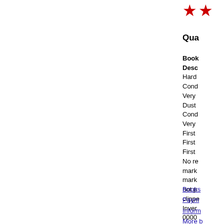[Figure (other): Two red star rating icons]
Qua
Book
Desc
Hard
Cond
Very
Dust
Cond
Very
First
First
First
No re
mark
mark
not p
clippe
Inver
0000
Books
Paym
Inform
More b
this se